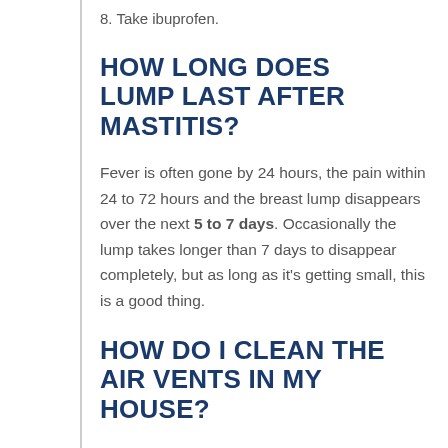8. Take ibuprofen.
HOW LONG DOES LUMP LAST AFTER MASTITIS?
Fever is often gone by 24 hours, the pain within 24 to 72 hours and the breast lump disappears over the next 5 to 7 days. Occasionally the lump takes longer than 7 days to disappear completely, but as long as it's getting small, this is a good thing.
HOW DO I CLEAN THE AIR VENTS IN MY HOUSE?